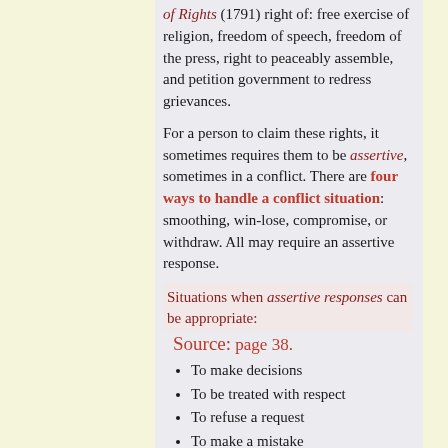of Rights (1791) right of: free exercise of religion, freedom of speech, freedom of the press, right to peaceably assemble, and petition government to redress grievances.
For a person to claim these rights, it sometimes requires them to be assertive, sometimes in a conflict. There are four ways to handle a conflict situation: smoothing, win-lose, compromise, or withdraw. All may require an assertive response.
Situations when assertive responses can be appropriate:
Source: page 38.
To make decisions
To be treated with respect
To refuse a request
To make a mistake
To change your mind
To take time to consider requests
To make reasonable requests